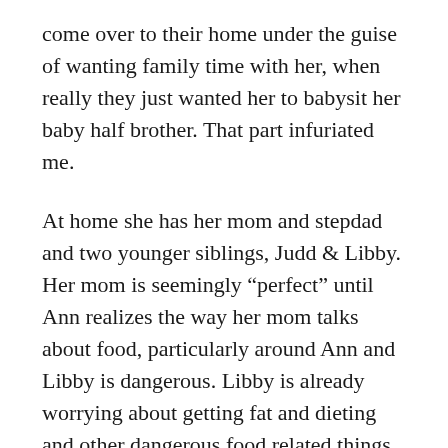come over to their home under the guise of wanting family time with her, when really they just wanted her to babysit her baby half brother. That part infuriated me.
At home she has her mom and stepdad and two younger siblings, Judd & Libby. Her mom is seemingly “perfect” until Ann realizes the way her mom talks about food, particularly around Ann and Libby is dangerous. Libby is already worrying about getting fat and dieting and other dangerous food related things. Ann wants desperately to model healthy habits for her younger sister since apparently, her mom doesn’t want to.
And of course, Ann has an older brother who we don’t really see much of until the very end of the book. I wanted to see more of Tony and we...